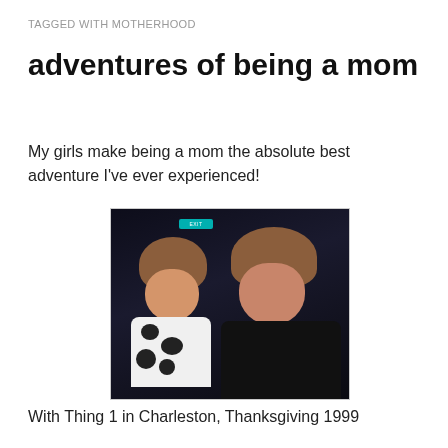TAGGED WITH MOTHERHOOD
adventures of being a mom
My girls make being a mom the absolute best adventure I've ever experienced!
[Figure (photo): A young girl with reddish-brown hair wearing a black and white cow-print outfit looks up smiling at a woman with reddish-brown hair wearing a black top, in a dark restaurant setting]
With Thing 1 in Charleston, Thanksgiving 1999